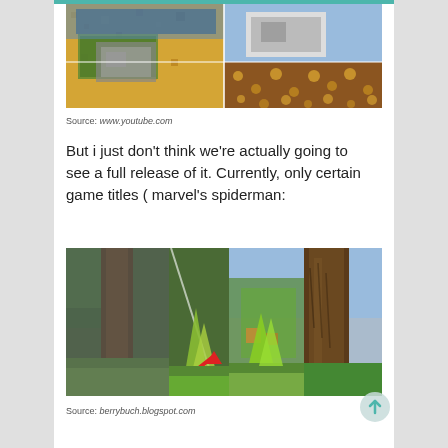[Figure (screenshot): Screenshot showing Minecraft texture comparison grid — various block textures including sand, water, grass, and decorative patterns arranged in a grid layout]
Source: www.youtube.com
But i just don't think we're actually going to see a full release of it. Currently, only certain game titles ( marvel's spiderman:
[Figure (screenshot): Screenshot comparison of Minecraft graphics showing old blocky tree textures on left versus more realistic/enhanced tree graphics on right, with a red arrow pointing to improved fern/plant textures]
Source: berrybuch.blogspot.com